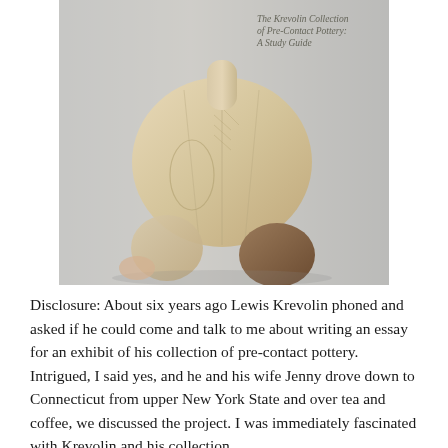[Figure (photo): Book cover showing a pre-contact pottery vessel with a round bulbous body, narrow neck, and three spherical feet. The vessel is tan/beige colored with incised geometric decorations. Partial text visible at top reads 'The Krevolin Collection of Pre-Contact Pottery: A Study Guide'.]
Disclosure: About six years ago Lewis Krevolin phoned and asked if he could come and talk to me about writing an essay for an exhibit of his collection of pre-contact pottery. Intrigued, I said yes, and he and his wife Jenny drove down to Connecticut from upper New York State and over tea and coffee, we discussed the project. I was immediately fascinated with Krevolin and his collection